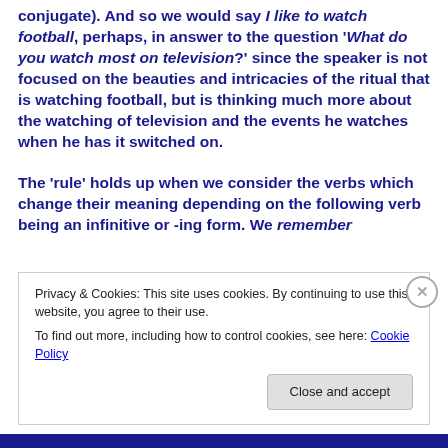conjugate).  And so we would say I like to watch football, perhaps, in answer to the question 'What do you watch most on television?' since the speaker is not focused on the beauties and intricacies of the ritual that is watching football, but is thinking much more about the watching of television and the events he watches when he has it switched on.

The 'rule' holds up when we consider the verbs which change their meaning depending on the following verb being an infinitive or -ing form.  We remember
Privacy & Cookies: This site uses cookies. By continuing to use this website, you agree to their use.
To find out more, including how to control cookies, see here: Cookie Policy